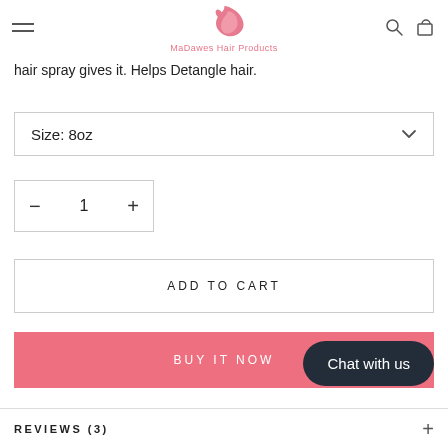MaDawes Hair Products (navigation header with hamburger menu, logo, search and cart icons)
hair spray gives it. Helps Detangle hair.
Size: 8oz
- 1 +
ADD TO CART
BUY IT NOW
Chat with us
REVIEWS (3)